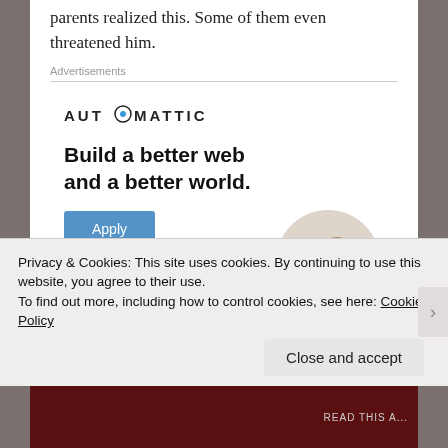parents realized this. Some of them even threatened him.
Advertisements
[Figure (logo): Automattic logo with stylized 'O' containing a blue dot in the center]
Build a better web and a better world.
[Figure (photo): A person sitting and thinking with hand on chin, circular cropped photo]
Apply
Privacy & Cookies: This site uses cookies. By continuing to use this website, you agree to their use.
To find out more, including how to control cookies, see here: Cookie Policy
Close and accept